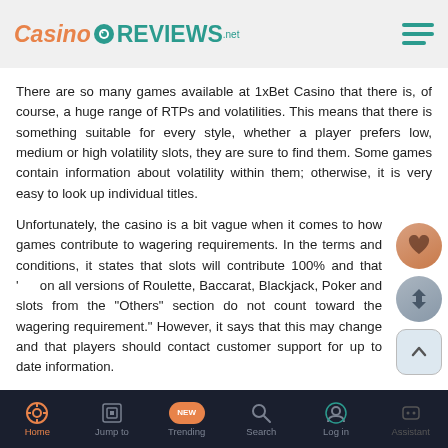CasinoReviews.net
There are so many games available at 1xBet Casino that there is, of course, a huge range of RTPs and volatilities. This means that there is something suitable for every style, whether a player prefers low, medium or high volatility slots, they are sure to find them. Some games contain information about volatility within them; otherwise, it is very easy to look up individual titles.
Unfortunately, the casino is a bit vague when it comes to how games contribute to wagering requirements. In the terms and conditions, it states that slots will contribute 100% and that 'on all versions of Roulette, Baccarat, Blackjack, Poker and slots from the "Others" section do not count toward the wagering requirement." However, it says that this may change and that players should contact customer support for up to date information.
Home | Jump to | Trending | Search | Log in | Assistant